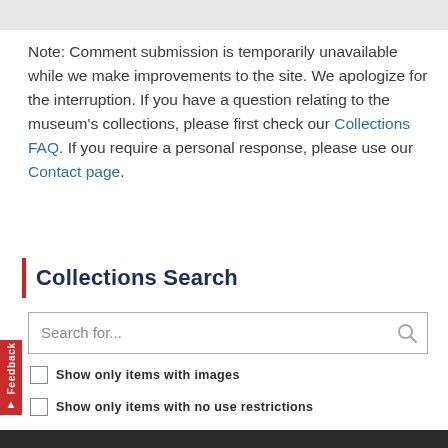Note: Comment submission is temporarily unavailable while we make improvements to the site. We apologize for the interruption. If you have a question relating to the museum's collections, please first check our Collections FAQ. If you require a personal response, please use our Contact page.
Collections Search
[Figure (screenshot): Search input box with placeholder text 'Search for...' and a magnifying glass icon on the right]
Show only items with images
Show only items with no use restrictions